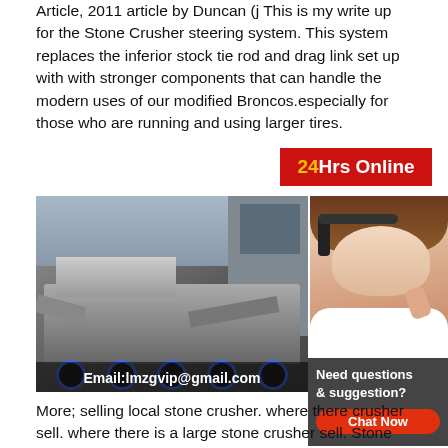Article, 2011 article by Duncan (j This is my write up for the Stone Crusher steering system. This system replaces the inferior stock tie rod and drag link set up with with stronger components that can handle the modern uses of our modified Broncos.especially for those who are running and using larger tires.
[Figure (infographic): Red banner with text '24Hrs Online' in white and yellow]
[Figure (photo): Photo of a large mobile stone crusher machine in an industrial setting with text overlay: Email:lmzgvip@gmail.com]
[Figure (photo): Photo of a customer service advisor woman wearing a headset, smiling, with 'in' text partially visible]
[Figure (infographic): Dark grey chat box with text 'Need questions & suggestion?' and a red 'Chat Now' button]
More; selling local stone crusher. where there crusher sell. where there is a large stone crusher sell. Stone Crusher Machine Price Alibaba. High quality used stone crusherStone crusher price 2 Photos Tools/Equipment,Cone crusher price in stone,cement,quartz,sand crushing plant For Great Wall cone crusher price in stone,cement,quartz,sand crushing plant in uae,please feel free to contact us with the following information by the email [email protected]